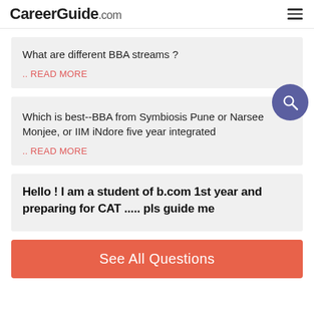CareerGuide.com
What are different BBA streams ?
.. READ MORE
Which is best--BBA from Symbiosis Pune or Narsee Monjee, or IIM iNdore five year integrated
.. READ MORE
Hello ! I am a student of b.com 1st year and preparing for CAT ..... pls guide me
See All Questions